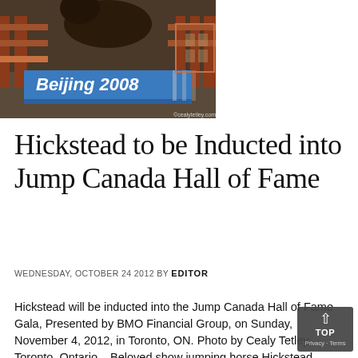[Figure (photo): Horse show jumping at Beijing 2008 Olympics, with a colorful jump obstacle. Photo credited to ©cealytetley.com]
Hickstead to be Inducted into Jump Canada Hall of Fame
WEDNESDAY, OCTOBER 24 2012 BY EDITOR
Hickstead will be inducted into the Jump Canada Hall of Fame Gala, Presented by BMO Financial Group, on Sunday, November 4, 2012, in Toronto, ON. Photo by Cealy Tetley, Toronto, Ontario – Beloved show jumping horse Hickstead